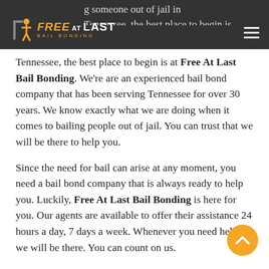Free At Last Bail Bonding — navigation header with logo
When getting someone out of jail in Tennessee, the best place to begin is at Free At Last Bail Bonding. We're are an experienced bail bond company that has been serving Tennessee for over 30 years. We know exactly what we are doing when it comes to bailing people out of jail. You can trust that we will be there to help you.
Since the need for bail can arise at any moment, you need a bail bond company that is always ready to help you. Luckily, Free At Last Bail Bonding is here for you. Our agents are available to offer their assistance 24 hours a day, 7 days a week. Whenever you need help, we will be there. You can count on us.
On top of always being there for our clients, we provide all of them with an affordable option for rescuing their loved ones from jail. Our bail bonds only